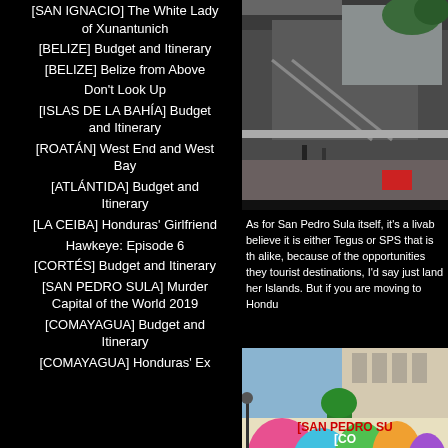[SAN IGNACIO] The White Lady of Xunantunich
[BELIZE] Budget and Itinerary
[BELIZE] Belize from Above
Don't Look Up
[ISLAS DE LA BAHÍA] Budget and Itinerary
[ROATÁN] West End and West Bay
[ATLÁNTIDA] Budget and Itinerary
[LA CEIBA] Honduras' Girlfriend
Hawkeye: Episode 6
[CORTÉS] Budget and Itinerary
[SAN PEDRO SULA] Murder Capital of the World 2019
[COMAYAGUA] Budget and Itinerary
[COMAYAGUA] Honduras' Ex
[Figure (photo): Interior of a modern shopping mall with escalators and greenery, viewed from above]
As for San Pedro Sula itself, it's a livab believe it is either Tegus or SPS that is th alike, because of the opportunities they tourist destinations, I'd say just land her Islands. But if you are moving to Hondu
[Figure (photo): Colorful street mural on a building with tropical motifs in San Pedro Sula]
[SAN PEDRO SU
[CO